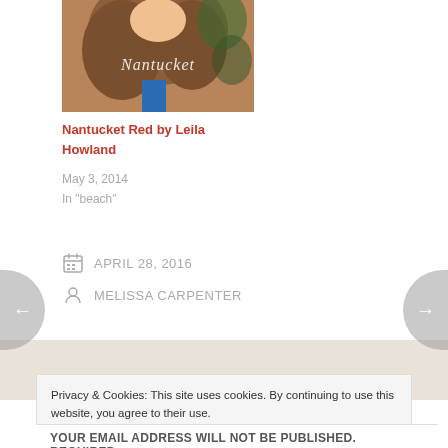[Figure (illustration): Book cover for Nantucket Red by Leila Howland showing a young woman with brown hair]
Nantucket Red by Leila Howland
May 3, 2014
In "beach"
APRIL 28, 2016
MELISSA CARPENTER
Privacy & Cookies: This site uses cookies. By continuing to use this website, you agree to their use.
To find out more, including how to control cookies, see here: Cookie Policy
Close and accept
Your email address will not be published. Required